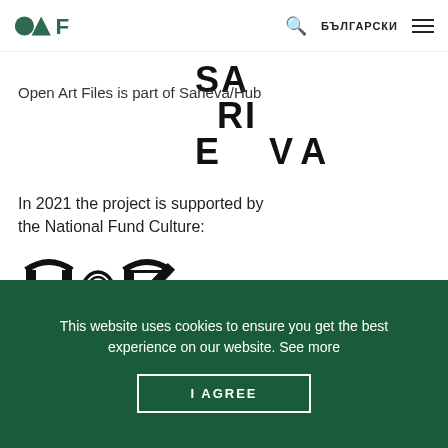OAF | БЪЛГАРСКИ
[Figure (logo): Sarieva logo with text SA RI E VA arranged in staircase pattern]
Open Art Files is part of Sarieva/Hub
In 2021 the project is supported by the National Fund Culture:
[Figure (logo): НФК (National Fund Culture) logo - Egyptian-style emblem with H and K letters flanking central figure]
This website uses cookies to ensure you get the best experience on our website. See more
I AGREE